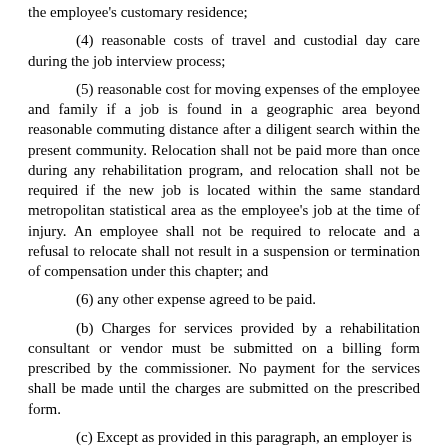the employee's customary residence;
(4) reasonable costs of travel and custodial day care during the job interview process;
(5) reasonable cost for moving expenses of the employee and family if a job is found in a geographic area beyond reasonable commuting distance after a diligent search within the present community. Relocation shall not be paid more than once during any rehabilitation program, and relocation shall not be required if the new job is located within the same standard metropolitan statistical area as the employee's job at the time of injury. An employee shall not be required to relocate and a refusal to relocate shall not result in a suspension or termination of compensation under this chapter; and
(6) any other expense agreed to be paid.
(b) Charges for services provided by a rehabilitation consultant or vendor must be submitted on a billing form prescribed by the commissioner. No payment for the services shall be made until the charges are submitted on the prescribed form.
(c) Except as provided in this paragraph, an employer is